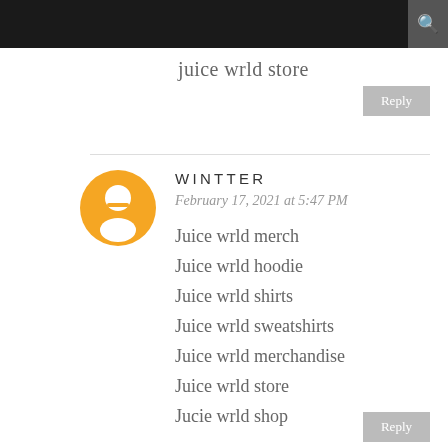juice wrld store
Reply
WINTTER
February 17, 2021 at 5:47 PM
Juice wrld merch
Juice wrld hoodie
Juice wrld shirts
Juice wrld sweatshirts
Juice wrld merchandise
Juice wrld store
Jucie wrld shop
Reply